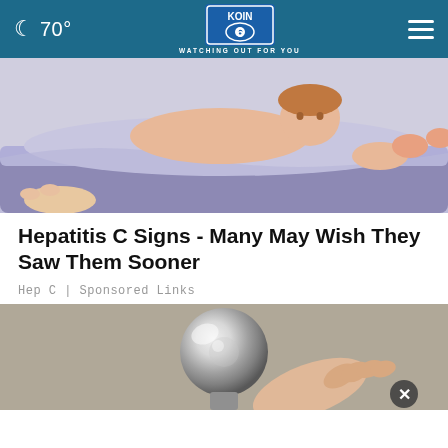🌙 70° | KOIN 6 | WATCHING OUT FOR YOU
[Figure (illustration): Illustration of a person lying in bed, appearing unwell, with blue/purple bedding and a hand visible at the bottom corner.]
Hepatitis C Signs - Many May Wish They Saw Them Sooner
Hep C | Sponsored Links
[Figure (photo): Close-up photo of a hand holding a round metallic doorknob or ball-shaped object, silver in color, against a light background.]
[Figure (infographic): Red advertisement banner: GET DOWN WITH YOUR BLOOD PRESSURE. In partnership with the Office of Minority Health and Health Resources & Services Administration. ACT NOW button. Ad Council, American Heart Association, and AMA logos.]